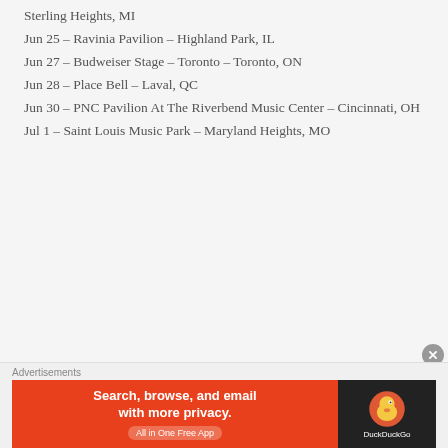Sterling Heights, MI
Jun 25 – Ravinia Pavilion – Highland Park, IL
Jun 27 – Budweiser Stage – Toronto – Toronto, ON
Jun 28 – Place Bell – Laval, QC
Jun 30 – PNC Pavilion At The Riverbend Music Center – Cincinnati, OH
Jul 1 – Saint Louis Music Park – Maryland Heights, MO
Advertisements — Search, browse, and email with more privacy. All in One Free App — DuckDuckGo